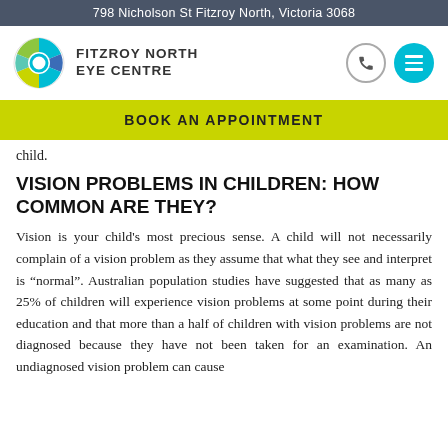798 Nicholson St Fitzroy North, Victoria 3068
[Figure (logo): Fitzroy North Eye Centre logo with circular eye graphic in green, teal, and blue segments]
child.
VISION PROBLEMS IN CHILDREN: HOW COMMON ARE THEY?
Vision is your child's most precious sense. A child will not necessarily complain of a vision problem as they assume that what they see and interpret is "normal". Australian population studies have suggested that as many as 25% of children will experience vision problems at some point during their education and that more than a half of children with vision problems are not diagnosed because they have not been taken for an examination. An undiagnosed vision problem can cause